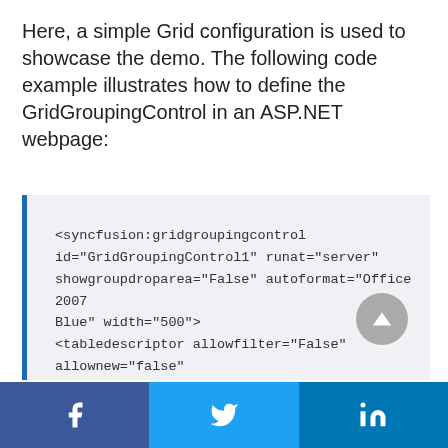Here, a simple Grid configuration is used to showcase the demo. The following code example illustrates how to define the GridGroupingControl in an ASP.NET webpage:
<syncfusion:gridgroupingcontrol id="GridGroupingControl1" runat="server" showgroupdroparea="False" autoformat="Office 2007 Blue" width="500">
<tabledescriptor allowfilter="False" allownew="false" allowedit="false">
</tabledescriptor>
</syncfusion:gridgroupingcontrol>
Facebook | Twitter | LinkedIn